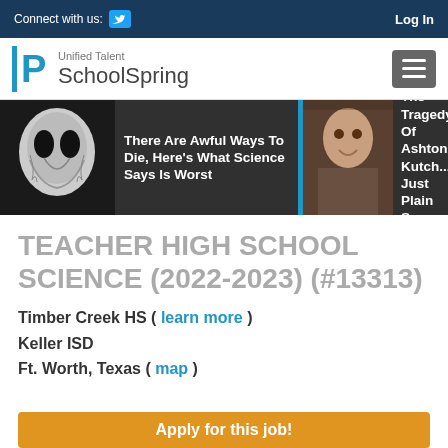Connect with us: [Twitter] | Log In
[Figure (logo): Unified Talent SchoolSpring logo with P icon and hamburger menu button]
[Figure (photo): Ad banner showing two clickbait articles: 'There Are Awful Ways To Die, Here's What Science Says Is Worst' with creepy face image, and 'The Tragedy Of Ashton Kutch... Just Plain Sa...' with photo of Ashton Kutcher]
TEACHER HIGH SCHOOL SCIENCE (2022-2023) (#13313)
Timber Creek HS ( learn more )
Keller ISD
Ft. Worth, Texas ( map )
Apply for this job!